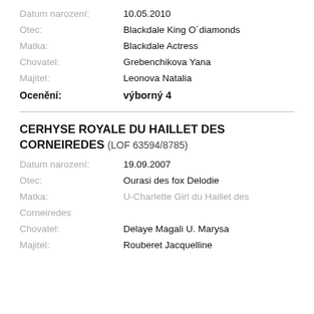Datum narození: 10.05.2010
Otec: Blackdale King O´diamonds
Matka: Blackdale Actress
Chovatel: Grebenchikova Yana
Majitel: Leonova Natalia
Ocenění: výborný 4
CERHYSE ROYALE DU HAILLET DES CORNEIREDES (LOF 63594/8785)
Datum narození: 19.09.2007
Otec: Ourasi des fox Delodie
Matka: U-Charlette Girl du Haillet des Corneiredes
Chovatel: Delaye Magali U. Marysa
Majitel: Rouberet Jacquelline